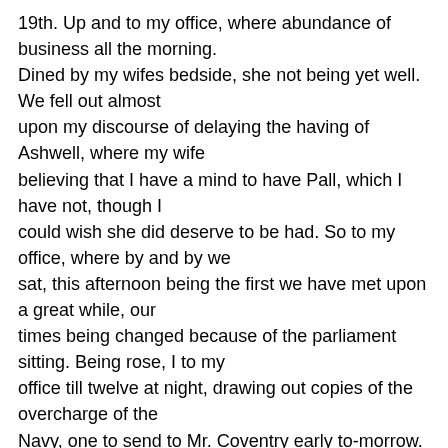19th. Up and to my office, where abundance of business all the morning. Dined by my wifes bedside, she not being yet well. We fell out almost upon my discourse of delaying the having of Ashwell, where my wife believing that I have a mind to have Pall, which I have not, though I could wish she did deserve to be had. So to my office, where by and by we sat, this afternoon being the first we have met upon a great while, our times being changed because of the parliament sitting. Being rose, I to my office till twelve at night, drawing out copies of the overcharge of the Navy, one to send to Mr. Coventry early to-morrow. So home and to bed, being weary, sleepy, and my eyes begin to fail me, looking so long by